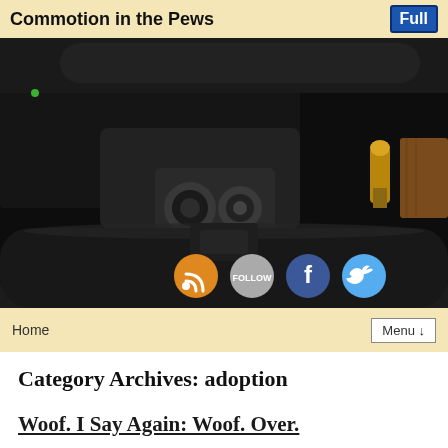Commotion in the Pews
[Figure (photo): Close-up photograph of dark firearm parts (shotgun/rifle action mechanism) with metal components and a bullet visible, overlaid with social media icons at bottom: RSS (orange), Follow (gray), Facebook (blue), Twitter (light blue)]
Home   Menu ↓
Category Archives: adoption
Woof. I Say Again: Woof. Over.
Posted on September 17, 2019 by Joseph Courtemanche